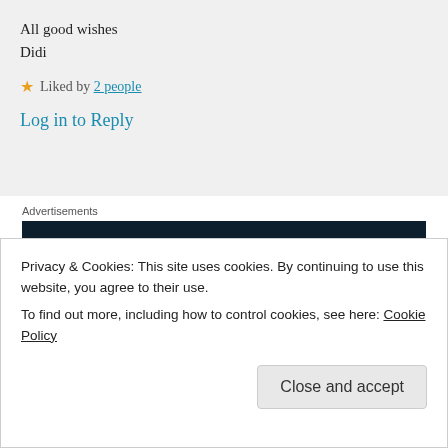All good wishes
Didi
★ Liked by 2 people
Log in to Reply
Advertisements
[Figure (screenshot): WordPress advertisement banner with dark navy background, WordPress logo (W in circle) at top right, and the word 'Opinions' in large white serif text at bottom left.]
Privacy & Cookies: This site uses cookies. By continuing to use this website, you agree to their use.
To find out more, including how to control cookies, see here: Cookie Policy
Close and accept